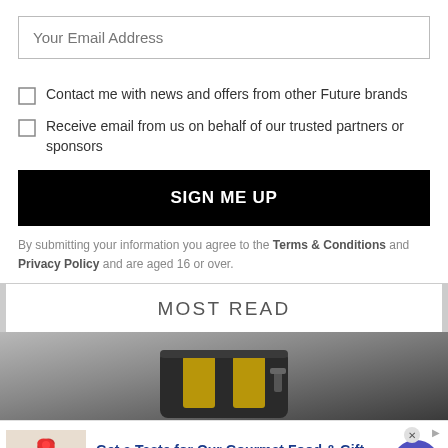Your Email Address
Contact me with news and offers from other Future brands
Receive email from us on behalf of our trusted partners or sponsors
SIGN ME UP
By submitting your information you agree to the Terms & Conditions and Privacy Policy and are aged 16 or over.
MOST READ
[Figure (photo): Photo of a toaster appliance, dark background with warm toned toaster shape visible]
[Figure (infographic): Advertisement for 1800flowers.com: Get a Taste for Our Gourmet Food & Gift - Chocolate Gifts - Fruit Baskets - Baked Goods - www.1800flowers.com, with gift basket image and navigation arrow]